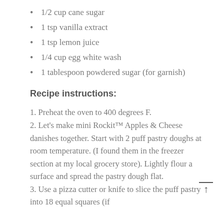1/2 cup cane sugar
1 tsp vanilla extract
1 tsp lemon juice
1/4 cup egg white wash
1 tablespoon powdered sugar (for garnish)
Recipe instructions:
1. Preheat the oven to 400 degrees F.
2. Let’s make mini Rockit™ Apples & Cheese danishes together. Start with 2 puff pastry doughs at room temperature. (I found them in the freezer section at my local grocery store). Lightly flour a surface and spread the pastry dough flat.
3. Use a pizza cutter or knife to slice the puff pastry into 18 equal squares (if